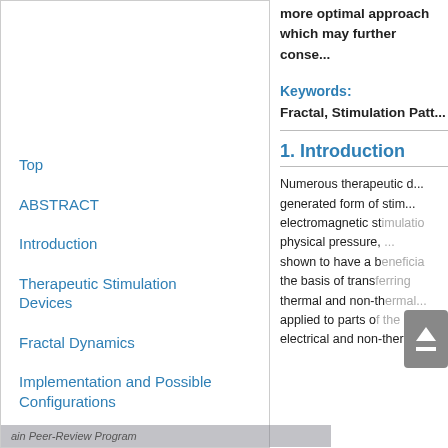more optimal approach which may further conse...
Keywords:
Fractal, Stimulation Patt...
1. Introduction
Numerous therapeutic d... generated form of stim... electromagnetic stimulatio... physical pressure,... shown to have a beneficial... the basis of transferring... thermal and non-thermal... applied to parts of the... electrical and non-therma...
Top
ABSTRACT
Introduction
Therapeutic Stimulation Devices
Fractal Dynamics
Implementation and Possible Configurations